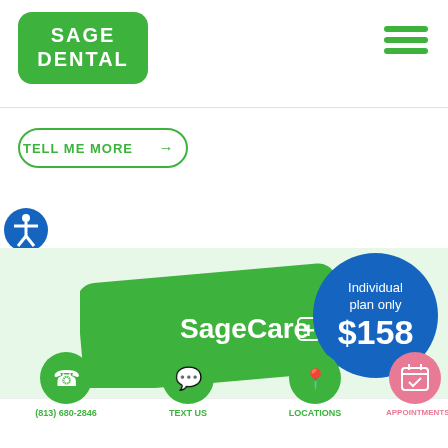[Figure (logo): Sage Dental green rounded rectangle logo with white text]
[Figure (other): Hamburger menu icon in green, three horizontal lines]
[Figure (other): Tell Me More button with arrow, rounded border outline in green]
[Figure (other): Blue circle accessibility icon on left side]
[Figure (other): SageCare+ green card with blue circle showing Individual plan only $158]
[Figure (other): Phone icon green circle with (813) 680-2846 label]
[Figure (other): Chat bubble icon green circle with TEXT US label]
[Figure (other): Location pin icon green circle with LOCATIONS label]
[Figure (other): Calendar/appointment icon pink circle with APPOINTMENTS label]